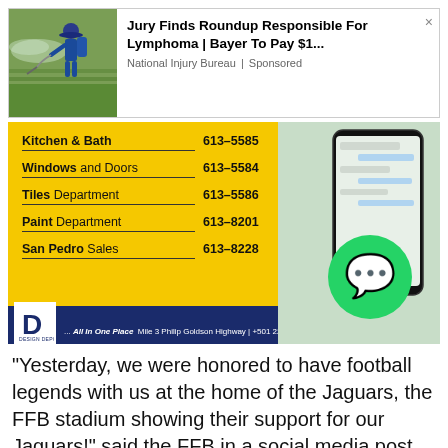[Figure (screenshot): Advertisement for National Injury Bureau about Roundup/Lymphoma lawsuit, with image of person spraying crops and text: Jury Finds Roundup Responsible For Lymphoma | Bayer To Pay $1... National Injury Bureau | Sponsored]
[Figure (photo): Design Depot advertisement on yellow background showing department phone numbers: Kitchen & Bath 613-5585, Windows and Doors 613-5584, Tiles Department 613-5586, Paint Department 613-8201, San Pedro Sales 613-8228. Logo and tagline All in One Place with address and phone.]
“Yesterday, we were honored to have football legends with us at the home of the Jaguars, the FFB stadium showing their support for our Jaguars!” said the FFB in a social media post on Wednesday.
The accompanying picture shows the five living